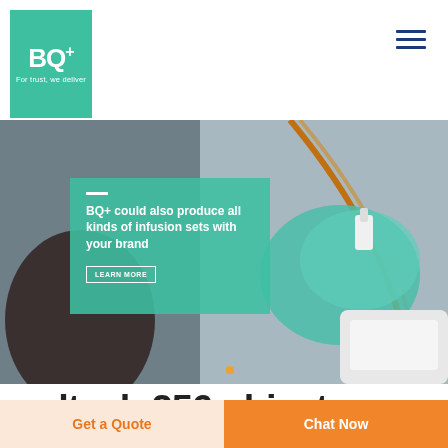[Figure (logo): BQ+ logo: green square with white BQ+ text and tagline 'For trust, we deliver']
[Figure (photo): Hero banner photo of a gloved hand handling an IV infusion set with medical device in background]
BQ+ could also produce all kinds of infusion sets with your brand
caltech 256 object
Get a Quote
Chat Now